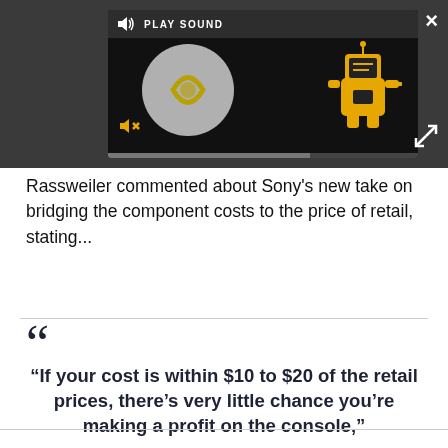[Figure (screenshot): Media player widget with dark background showing a cartoon robot character in gold/yellow color, a circular audio waveform graphic, a 'PLAY SOUND' label with speaker icon, mute button, close button (X), expand button, and a progress bar at the bottom.]
Rassweiler commented about Sony's new take on bridging the component costs to the price of retail, stating...
“If your cost is within $10 to $20 of the retail prices, there’s very little chance you’re making a profit on the console,”